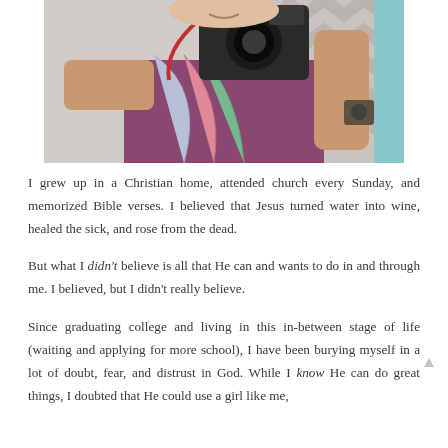[Figure (photo): A woman taking a mirror selfie with a DSLR camera covering her face, wearing a colorful floral scarf and purple top, with a chevron-patterned background.]
I grew up in a Christian home, attended church every Sunday, and memorized Bible verses. I believed that Jesus turned water into wine, healed the sick, and rose from the dead.
But what I didn't believe is all that He can and wants to do in and through me. I believed, but I didn't really believe.
Since graduating college and living in this in-between stage of life (waiting and applying for more school), I have been burying myself in a lot of doubt, fear, and distrust in God. While I know He can do great things, I doubted that He could use a girl like me,